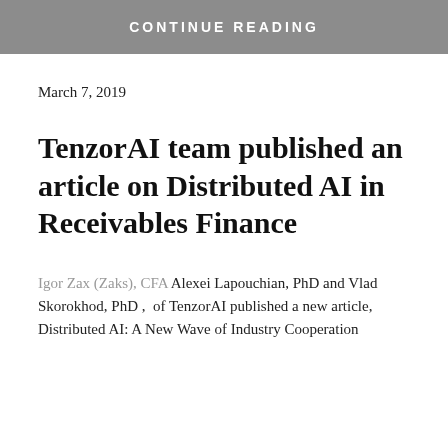CONTINUE READING
March 7, 2019
TenzorAI team published an article on Distributed AI in Receivables Finance
Igor Zax (Zaks), CFA Alexei Lapouchian, PhD and Vlad Skorokhod, PhD ,  of TenzorAI published a new article, Distributed AI: A New Wave of Industry Cooperation